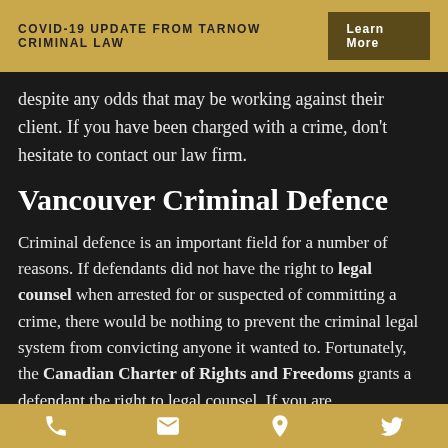COVID-19 UPDATE FROM TARNOW CRIMINAL LAW   Learn More
despite any odds that may be working against their client. If you have been charged with a crime, don't hesitate to contact our law firm.
Vancouver Criminal Defence
Criminal defence is an important field for a number of reasons. If defendants did not have the right to legal counsel when arrested for or suspected of committing a crime, there would be nothing to prevent the criminal legal system from convicting anyone it wanted to. Fortunately, the Canadian Charter of Rights and Freedoms grants a defendant the right to legal counsel. If you are
phone | email | location | twitter